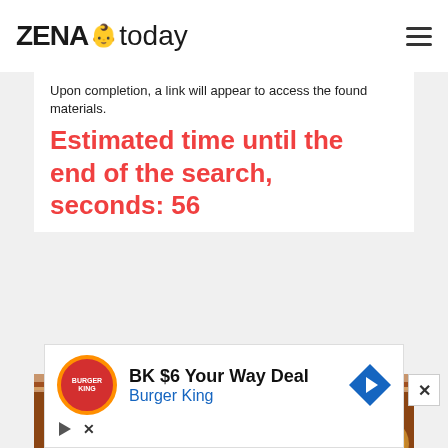ZENA today
Upon completion, a link will appear to access the found materials.
Estimated time until the end of the search, seconds: 56
[Figure (photo): A bowl of fried dough balls dusted with powdered sugar, close-up food photo]
[Figure (other): Advertisement: BK $6 Your Way Deal - Burger King logo and navigation arrow icon]